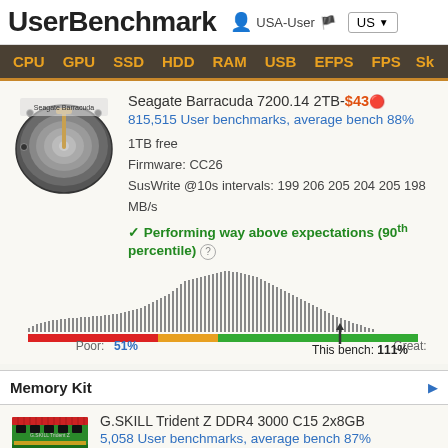UserBenchmark  USA-User  US
CPU  GPU  SSD  HDD  RAM  USB  EFPS  FPS  Sk
[Figure (photo): Hard disk drive photo - Seagate Barracuda]
Seagate Barracuda 7200.14 2TB-$43
815,515 User benchmarks, average bench 88%
1TB free
Firmware: CC26
SusWrite @10s intervals: 199 206 205 204 205 198 MB/s
Performing way above expectations (90th percentile)
[Figure (histogram): Performance distribution histogram with color gradient bar (red=poor, yellow=average, green=great). Arrow pointing at 111% mark. Poor: 51%, This bench: 111%]
Memory Kit
[Figure (photo): G.SKILL Trident Z DDR4 RAM kit photo]
G.SKILL Trident Z DDR4 3000 C15 2x8GB
5,058 User benchmarks, average bench 87%